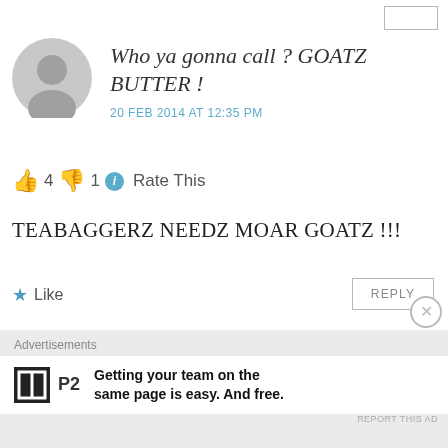Who ya gonna call ? GOATZ BUTTER !
20 FEB 2014 AT 12:35 PM
👍 4 👎 1 ℹ Rate This
TEABAGGERZ NEEDZ MOAR GOATZ !!!
★ Like
REPLY
Gordon Jolly
27 MAY 2014 AT 7:04 AM
👍 0 👎 0 ℹ Rate This
Advertisements
Getting your team on the same page is easy. And free.